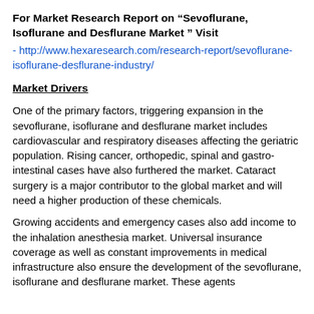For Market Research Report on “Sevoflurane, Isoflurane and Desflurane Market ” Visit
- http://www.hexaresearch.com/research-report/sevoflurane-isoflurane-desflurane-industry/
Market Drivers
One of the primary factors, triggering expansion in the sevoflurane, isoflurane and desflurane market includes cardiovascular and respiratory diseases affecting the geriatric population. Rising cancer, orthopedic, spinal and gastro-intestinal cases have also furthered the market. Cataract surgery is a major contributor to the global market and will need a higher production of these chemicals.
Growing accidents and emergency cases also add income to the inhalation anesthesia market. Universal insurance coverage as well as constant improvements in medical infrastructure also ensure the development of the sevoflurane, isoflurane and desflurane market. These agents are administered to patients via usage prescribed by the